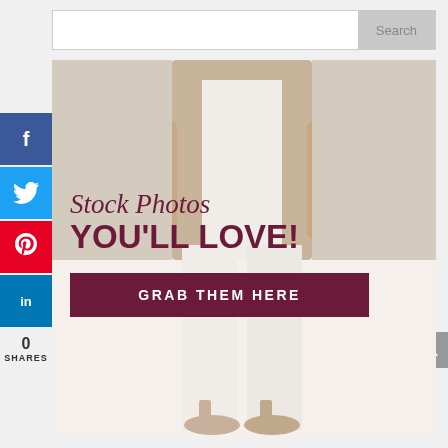[Figure (screenshot): Search bar with text input and Search button]
[Figure (infographic): Social share sidebar with Facebook, Twitter, Pinterest, LinkedIn buttons and 0 SHARES count]
[Figure (photo): Fashion banner ad featuring a woman in white pants and beige jacket holding pink flowers, with script text 'Stock Photos YOU'LL LOVE!' and a dark maroon button 'GRAB THEM HERE']
[Figure (other): Gray scroll-to-top arrow button on right side]